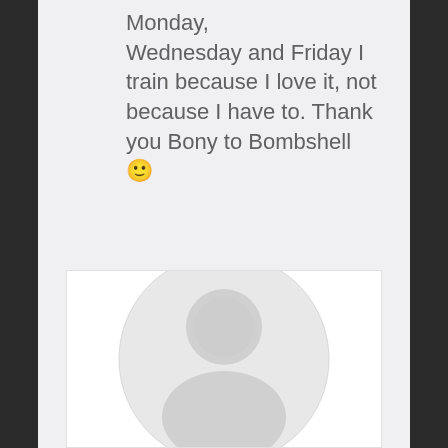Monday, Wednesday and Friday I train because I love it, not because I have to. Thank you Bony to Bombshell 🙂
[Figure (illustration): A circular avatar placeholder icon showing a silhouette of a person's head and shoulders in light gray on a white background]